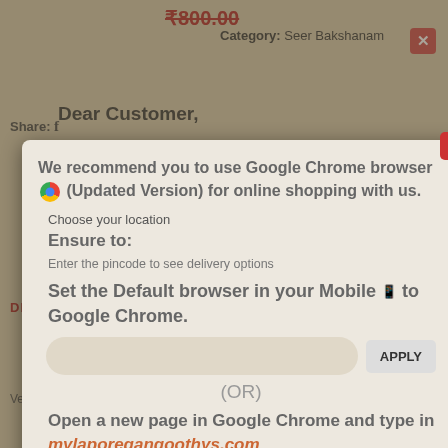₹800.00
Category: Seer Bakshanam
Share:
Dear Customer,
DESCRIPTION
[Figure (screenshot): Browser recommendation popup dialog overlaying a product page. The popup recommends using Google Chrome browser (Updated Version) for online shopping. It contains 'Ensure to:' section with instructions to set the default browser to Google Chrome, a location input with APPLY button, (OR) option, and instructions to open Google Chrome and type in mylaporegangoothys.com (For both Desktop or Mobile).]
authenticity to a recipe, like that of the Verkadalai Thengai Koodu.
What looks more attractive than the pair of perfectly made cone-shaped Verkadalai among the Seer Bhakshanam! Not just the looks, it is the authentic element within it that makes it stand out from the rest of the offerings at Seer. These would be loved by children and people of every age, thus when displayed in your grand Seer